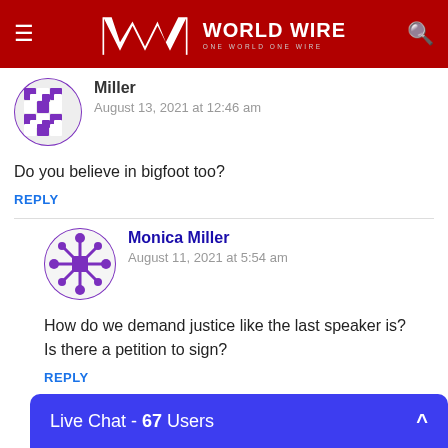[Figure (logo): World Wire website header with red background, hamburger menu icon, WW logo, 'WORLD WIRE' text with 'ONE WORLD ONE WIRE' subtitle, and search icon]
Miller
August 13, 2021 at 12:46 am
Do you believe in bigfoot too?
REPLY
Monica Miller
August 11, 2021 at 5:54 am
How do we demand justice like the last speaker is?
Is there a petition to sign?
REPLY
Live Chat - 67 Users